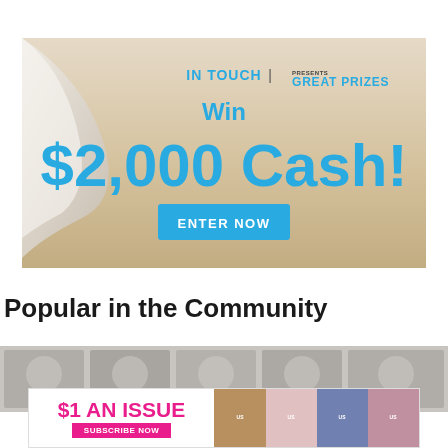[Figure (infographic): In Touch Weekly 'Win $2,000 Cash!' sweepstakes advertisement banner with beach background, showing the In Touch | Presents Great Prizes branding, 'Win $2,000 Cash!' text in blue, and an 'ENTER NOW' button.]
Popular in the Community
[Figure (infographic): Community thumbnail strip showing partial images of community members/articles.]
[Figure (infographic): Bottom advertisement banner: '$1 AN ISSUE — SUBSCRIBE NOW' with US Weekly magazine covers displayed.]